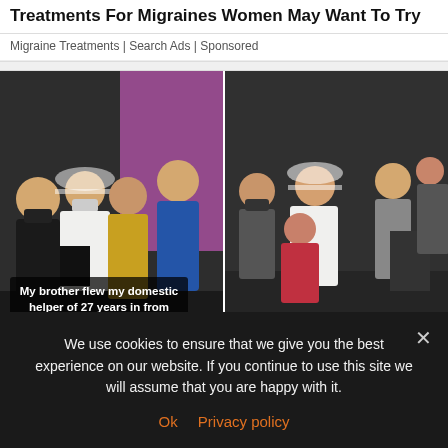Treatments For Migraines Women May Want To Try
Migraine Treatments | Search Ads | Sponsored
[Figure (photo): Two side-by-side video screenshots from a wedding. Left: A bride in a white veil and gown, surprised, with a woman in a gold dress beside her; a man in a blue suit stands behind. Caption overlay: 'My brother flew my domestic helper of 27 years in from Philippines to attend my wedding 🥹'. Right: The bride hugging a woman in a pink/red outfit at the same wedding event. Caption overlay: 'I love you yaya 🥹❤️']
Singaporean Bride Cries with Her domestic Helper... (cut off)
We use cookies to ensure that we give you the best experience on our website. If you continue to use this site we will assume that you are happy with it.
Ok  Privacy policy